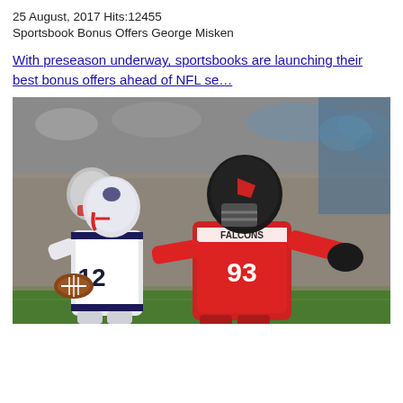25 August, 2017 Hits:12455
Sportsbook Bonus Offers George Misken
With preseason underway, sportsbooks are launching their best bonus offers ahead of NFL se…
[Figure (photo): Two NFL players in action — a New England Patriots player in white jersey (#12) running with the ball, being chased by an Atlanta Falcons player in red jersey (#93)]